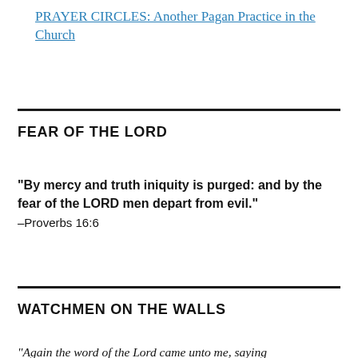PRAYER CIRCLES: Another Pagan Practice in the Church
FEAR OF THE LORD
“By mercy and truth iniquity is purged: and by the fear of the LORD men depart from evil.” –Proverbs 16:6
WATCHMEN ON THE WALLS
“Again the word of the Lord came unto me, saying